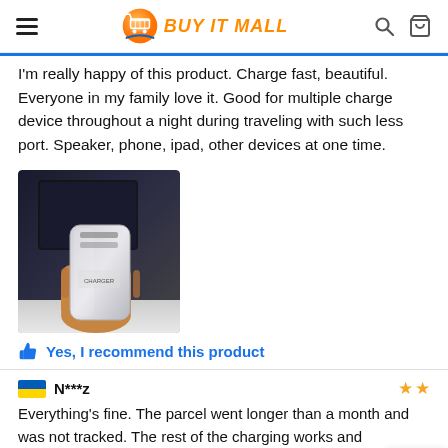BUY IT MALL
I'm really happy of this product. Charge fast, beautiful. Everyone in my family love it. Good for multiple charge device throughout a night during traveling with such less port. Speaker, phone, ipad, other devices at one time.
[Figure (photo): Hand holding a portable charger/power bank device against a dark background]
Yes, I recommend this product
N***z
Everything's fine. The parcel went longer than a month and was not tracked. The rest of the charging works and corresponds to the